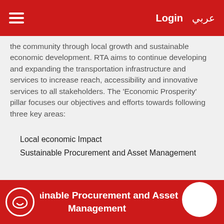Login  عربي
the community through local growth and sustainable economic development. RTA aims to continue developing and expanding the transportation infrastructure and services to increase reach, accessibility and innovative services to all stakeholders. The 'Economic Prosperity' pillar focuses our objectives and efforts towards following three key areas:
Local economic Impact
Sustainable Procurement and Asset Management
Local Economic Impact
Sustainable Procurement and Asset Management